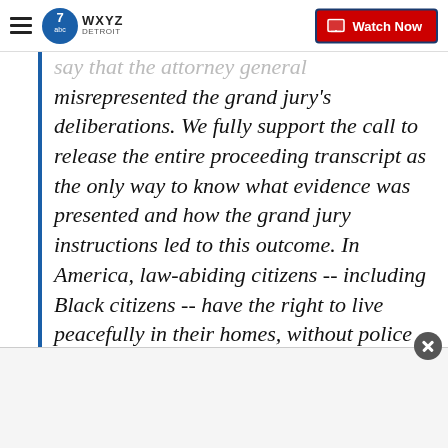WXYZ Detroit — Watch Now
say that the attorney general misrepresented the grand jury's deliberations. We fully support the call to release the entire proceeding transcript as the only way to know what evidence was presented and how the grand jury instructions led to this outcome. In America, law-abiding citizens -- including Black citizens -- have the right to live peacefully in their homes, without police breaking down their doors in the middle of the night, and they have a right to